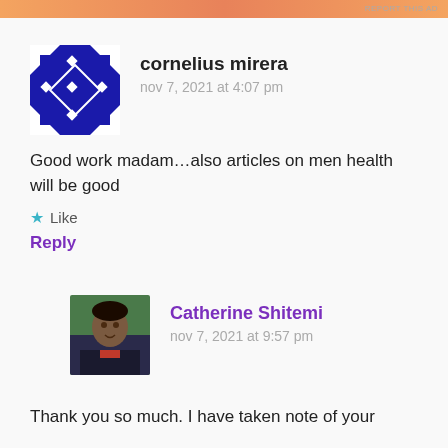[Figure (other): Orange gradient advertisement banner at top of page with 'REPORT THIS AD' text in top right]
[Figure (illustration): Blue geometric/quilt-pattern avatar icon for user cornelius mirera]
cornelius mirera
nov 7, 2021 at 4:07 pm
Good work madam…also articles on men health will be good
★ Like
Reply
[Figure (photo): Profile photo of Catherine Shitemi, a woman in a dark jacket with red top]
Catherine Shitemi
nov 7, 2021 at 9:57 pm
Thank you so much. I have taken note of your